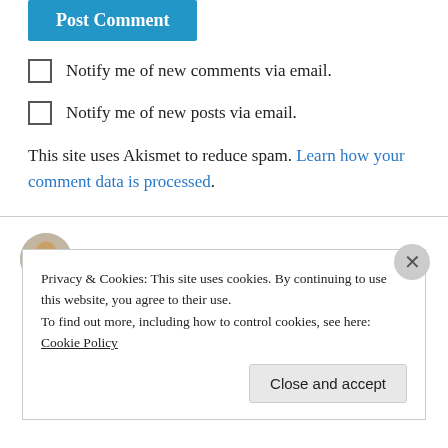Post Comment
Notify me of new comments via email.
Notify me of new posts via email.
This site uses Akismet to reduce spam. Learn how your comment data is processed.
Andrew Petcher on January 17, 2019 at 9:31 am
Interesting stuff John. Do you believe in the Loch
Privacy & Cookies: This site uses cookies. By continuing to use this website, you agree to their use.
To find out more, including how to control cookies, see here: Cookie Policy
Close and accept